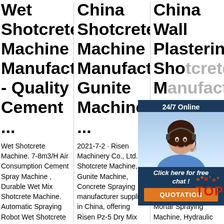Wet Shotcrete Machine Manufacturer - Quality Cement ...
China Shotcrete Machine Manufacturer, Gunite Machine ...
China Wall Plastering Shotcrete M... Sp... M...
Wet Shotcrete Machine. 7-8m3/H Air Consumption Cement Spray Machine , Durable Wet Mix Shotcrete Machine. Automatic Spraying Robot Wet Shotcrete Machine Easy Operation 12 Months
2021-7-2 · Risen Machinery Co., Ltd. Shotcrete Machine, Gunite Machine, Concrete Spraying manufacturer supplier in China, offering Risen Pz-5 Dry Mix Gunite Machine - Refractory Gunning
Con... Plas... Con... man... in China, offering Wall Plastering Shotcrete Mortar Spraying Machine, Hydraulic Concrete Cutter Pile Breaker for Round
[Figure (illustration): 24/7 Online chat widget with photo of woman wearing headset, Click here for free chat! text, and QUOTATION button]
[Figure (logo): TOP logo badge in orange/red]